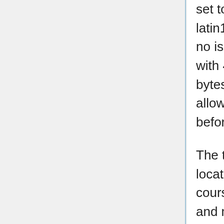set to 255 characters (or something similar). With the latin1 character set with 1 byte per character, there is no issue. However, with the utf8mb4 character set with 4 bytes per character, the maximum length in bytes is 4 x 255 which is greater than 1000 and is not allowed. Thus all the offending tables must be altered before converting from latin1 to utf8mb4.
The tables that need to be altered are location_addresses, coursename_setting for every course, coursename_past_answer for every course, and most of the OPL tables. Instead of altering the OPL tables directly, we will run OPL-update which will recreate the tables in the proper format. However, we may have to alter the location_addresses table (depending